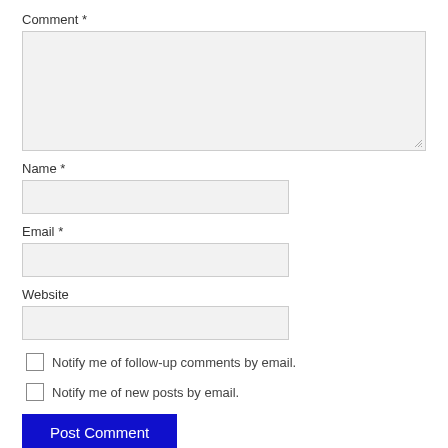Comment *
[Figure (other): Large empty textarea for comment input with resize handle]
Name *
[Figure (other): Single-line text input field for Name]
Email *
[Figure (other): Single-line text input field for Email]
Website
[Figure (other): Single-line text input field for Website]
Notify me of follow-up comments by email.
Notify me of new posts by email.
Post Comment